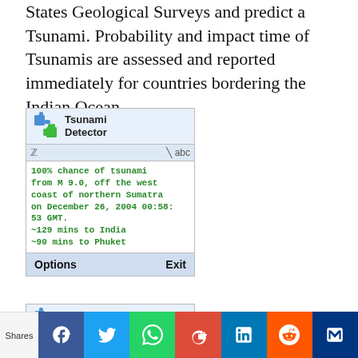States Geological Surveys and predict a Tsunami. Probability and impact time of Tsunamis are assessed and reported immediately for countries bordering the Indian Ocean.
[Figure (screenshot): Tsunami Detector app screenshot showing: '100% chance of tsunami from M 9.0, off the west coast of northern Sumatra on December 26, 2004 00:58:53 GMT. ~129 mins to India ~90 mins to Phuket' with Options and Exit buttons at the bottom.]
[Figure (screenshot): Second partial Tsunami Detector app screenshot, partially cut off at bottom of page.]
Shares (social share bar with Facebook, Twitter, WhatsApp, Google+, LinkedIn, Reddit, and crown icon buttons)